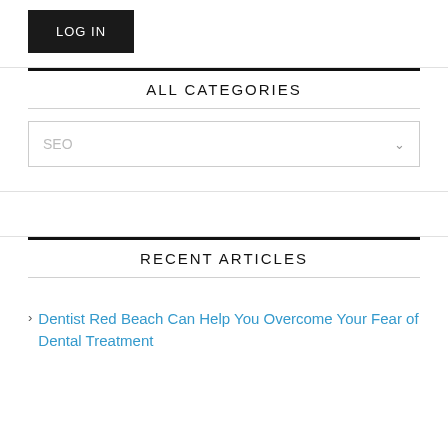LOG IN
ALL CATEGORIES
SEO
RECENT ARTICLES
Dentist Red Beach Can Help You Overcome Your Fear of Dental Treatment